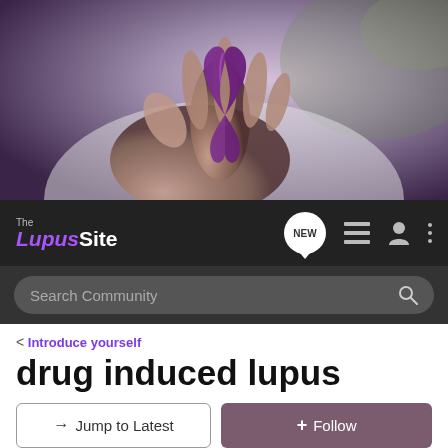[Figure (photo): Hand holding a purple lupus awareness ribbon against a blurred background]
The Lupus Site — navigation bar with NEW, list, user, and menu icons, and Search Community search bar
< Introduce yourself
drug induced lupus
→ Jump to Latest   + Follow
1 - 8 of 8 Posts
annie c · Registered
Joined Apr 18, 2009 · 2 Posts